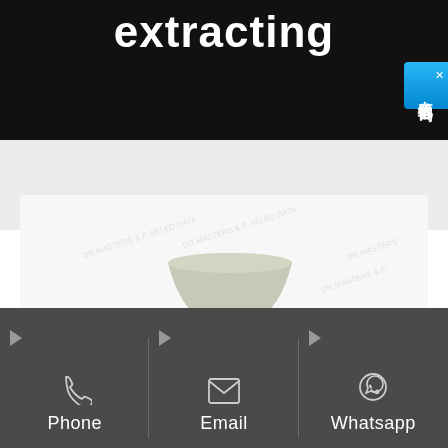extracting
[Figure (photo): Industrial oil/grain extracting machine with hopper on top, dark mechanical body, photographed on white background with watermark text]
[Figure (infographic): Online chat widget on right side with Chinese characters 在线咨询 (online consultation) on blue gradient background]
Phone
Email
Whatsapp